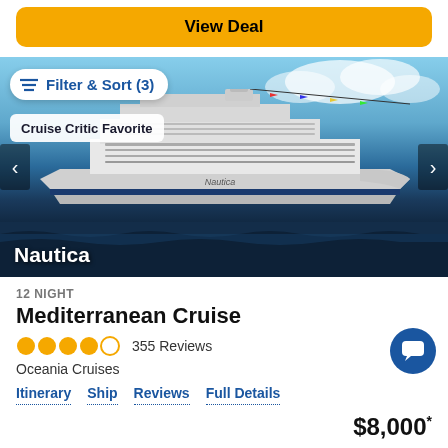View Deal
[Figure (photo): Large cruise ship named Nautica sailing on open water with blue sky. Filter & Sort (3) button and Cruise Critic Favorite badge visible in overlay. Navigation arrows on left and right sides.]
Nautica
12 NIGHT
Mediterranean Cruise
355 Reviews
Oceania Cruises
Itinerary
Ship
Reviews
Full Details